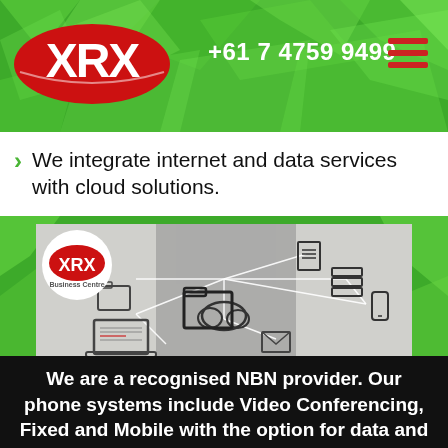[Figure (logo): XRX Business Centre website header with green geometric background, XRX red logo on left, phone number +61 7 4759 9499 in white center, hamburger menu icon on right]
We integrate internet and data services with cloud solutions.
[Figure (photo): Photo of a business person in suit with overlaid network connectivity icons including folders, cloud, documents, servers and mobile devices, with XRX Business Centre circular logo in top left corner]
We are a recognised NBN provider. Our phone systems include Video Conferencing, Fixed and Mobile with the option for data and cloud